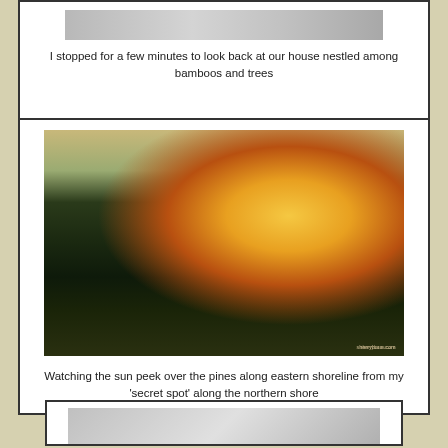[Figure (photo): Photo of house nestled among bamboos and trees, partially visible at top of page]
I stopped for a few minutes to look back at our house nestled among bamboos and trees
[Figure (photo): Nature photo showing the sun peeking over pine trees along the eastern shoreline, reflected in water, taken from a secret spot along the northern shore. Watermark: sherrybous.com]
Watching the sun peek over the pines along eastern shoreline from my 'secret spot' along the northern shore
[Figure (photo): Partially visible photo at the bottom of the page, appears to be a grey/silver toned image]